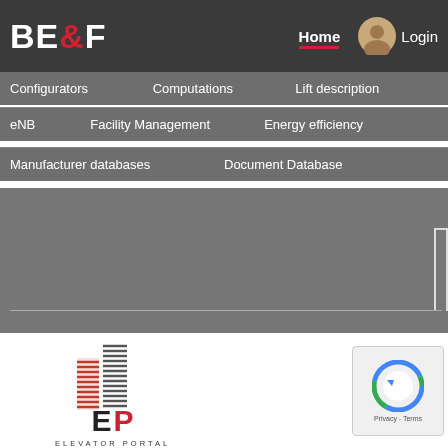[Figure (logo): BE&F logo with ampersand in red, white letters on dark background]
Home  Login
Configurators   Computations   Lift description
eNB   Facility Management   Energy efficiency
Manufacturer databases   Document Database
[Figure (logo): Elevator Portal logo with EP letters and building icon, text ELEVATOR PORTAL below]
[Figure (other): reCAPTCHA widget with Privacy - Terms text]